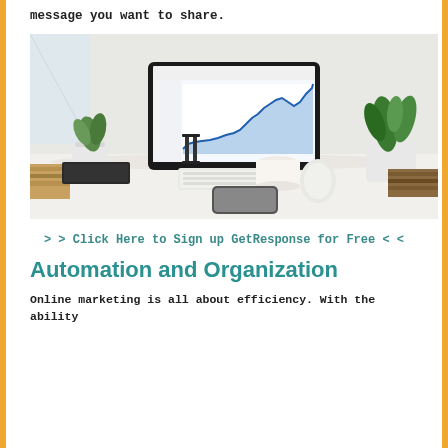message you want to share.
[Figure (photo): A clean white desk setup with an iMac displaying a line chart (analytics dashboard), potted plants, books, keyboard, mouse, coffee cup, and smartphone.]
> > Click Here to Sign up GetResponse for Free < <
Automation and Organization
Online marketing is all about efficiency. With the ability